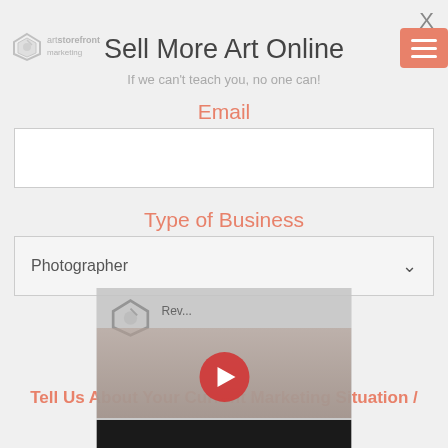X
[Figure (logo): Art storefront logo icon with small text]
Sell More Art Online
If we can't teach you, no one can!
Email
(empty email input field)
Type of Business
Photographer (dropdown)
Tell Us About Your Current Marketing Situation /
[Figure (screenshot): YouTube video overlay showing art storefront logo and play button with dark bottom bar]